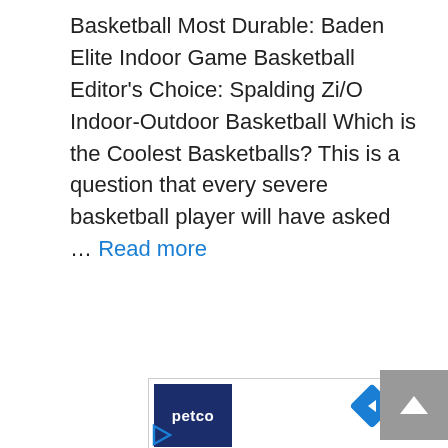Basketball Most Durable: Baden Elite Indoor Game Basketball Editor's Choice: Spalding Zi/O Indoor-Outdoor Basketball Which is the Coolest Basketballs? This is a question that every severe basketball player will have asked … Read more
[Figure (other): Advertisement banner showing Petco logo, a navigation arrow icon (blue diamond with right-pointing arrow), a play button icon (blue triangle), and a scroll-to-top button (gray square with up arrow)]